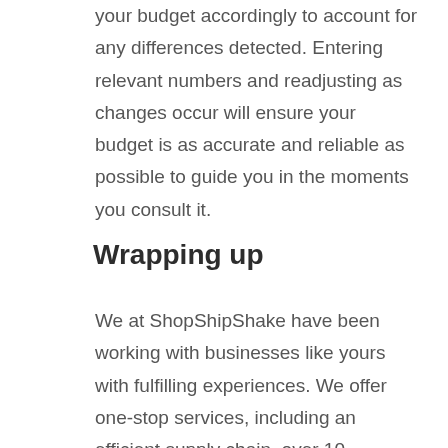your budget accordingly to account for any differences detected. Entering relevant numbers and readjusting as changes occur will ensure your budget is as accurate and reliable as possible to guide you in the moments you consult it.
Wrapping up
We at ShopShipShake have been working with businesses like yours with fulfilling experiences. We offer one-stop services, including an efficient supply chain, over 10